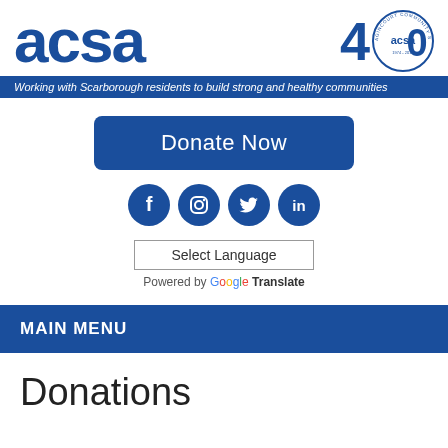[Figure (logo): ACSA logo in large blue bold text and 40th anniversary badge circle]
Working with Scarborough residents to build strong and healthy communities
Donate Now
[Figure (illustration): Social media icons: Facebook, Instagram, Twitter, LinkedIn — all in dark blue circles]
Select Language
Powered by Google Translate
MAIN MENU
Donations